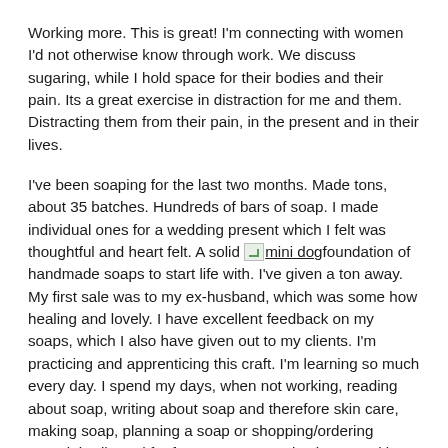Working more. This is great! I'm connecting with women I'd not otherwise know through work. We discuss sugaring, while I hold space for their bodies and their pain. Its a great exercise in distraction for me and them. Distracting them from their pain, in the present and in their lives.
I've been soaping for the last two months. Made tons, about 35 batches. Hundreds of bars of soap. I made individual ones for a wedding present which I felt was thoughtful and heart felt. A solid [image]mini dogfoundation of handmade soaps to start life with. I've given a ton away. My first sale was to my ex-husband, which was some how healing and lovely. I have excellent feedback on my soaps, which I also have given out to my clients. I'm practicing and apprenticing this craft. I'm learning so much every day. I spend my days, when not working, reading about soap, writing about soap and therefore skin care, making soap, planning a soap or shopping/ordering materials I'll need for future soap. I've also been working on my website,